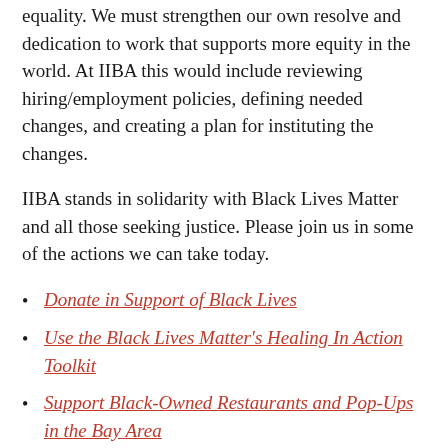equality. We must strengthen our own resolve and dedication to work that supports more equity in the world. At IIBA this would include reviewing hiring/employment policies, defining needed changes, and creating a plan for instituting the changes.
IIBA stands in solidarity with Black Lives Matter and all those seeking justice. Please join us in some of the actions we can take today.
Donate in Support of Black Lives
Use the Black Lives Matter's Healing In Action Toolkit
Support Black-Owned Restaurants and Pop-Ups in the Bay Area
Contact Your Elected Officials for Reform. In California, the State Senate will vote on ACA 5, which focuses on equal